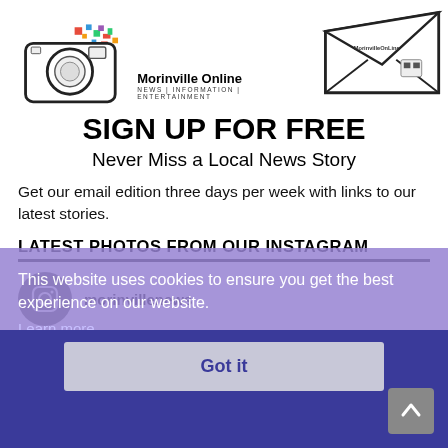[Figure (logo): Morinville Online camera logo with colorful confetti and text 'Morinville Online NEWS | INFORMATION | ENTERTAINMENT', alongside an envelope logo with Morinville Online branding]
SIGN UP FOR FREE
Never Miss a Local News Story
Get our email edition three days per week with links to our latest stories.
LATEST PHOTOS FROM OUR INSTAGRAM
[Figure (screenshot): Instagram widget showing morinvillenews handle with Instagram icon]
This website uses cookies to ensure you get the best experience on our website.
Learn more
Got it